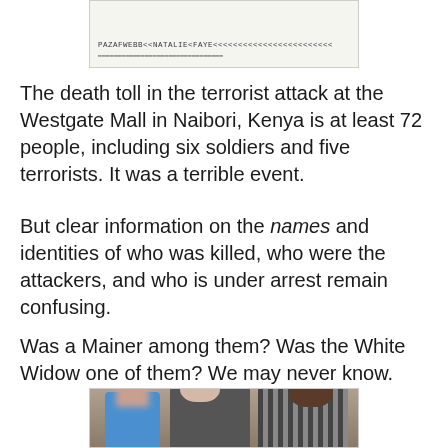[Figure (photo): Partial image of what appears to be a passport or ID document showing machine-readable text 'PAZAFWEBB<<NATALIE<FAYE<<<<<<<<<<<<<<<<' at the bottom]
The death toll in the terrorist attack at the Westgate Mall in Naibori, Kenya is at least 72 people, including six soldiers and five terrorists. It was a terrible event.
But clear information on the names and identities of who was killed, who were the attackers, and who is under arrest remain confusing.
Was a Mainer among them? Was the White Widow one of them? We may never know.
[Figure (photo): A photograph showing three people: a child with a pixelated/blurred face in the foreground, a young white woman in the middle, and a young Black man on the right, all posed together for the photo]